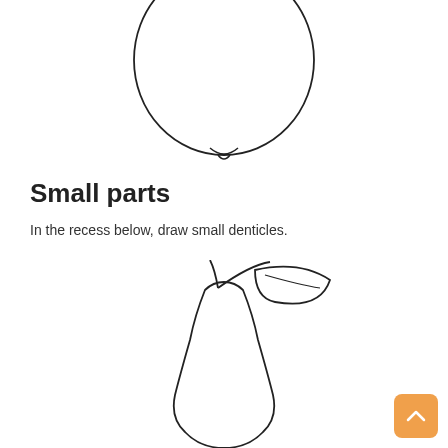[Figure (illustration): Line drawing of an apple viewed from below, showing a circular fruit outline with a small indentation/recess at the bottom center]
Small parts
In the recess below, draw small denticles.
[Figure (illustration): Line drawing of a pear with a stem and leaf at the top, showing the classic pear shape with a rounded bottom and narrower top, partially cut off at the bottom of the page]
[Figure (other): Orange navigation button with upward chevron arrow in bottom-right corner]